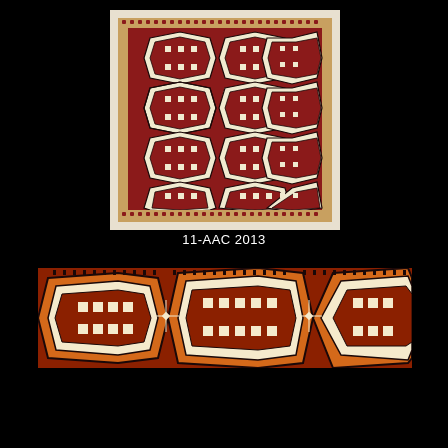[Figure (photo): Antique Turkmen rug with repeating gul medallion patterns on a red field, bordered with geometric designs. The rug shows rows of octagonal medallions filled with intricate geometric motifs in cream, dark blue/black, and red.]
11-AAC 2013
[Figure (photo): Close-up detail of the same Turkmen rug showing the lower portion with enlarged gul medallions, highlighting the cream and red geometric patterns against a red field.]